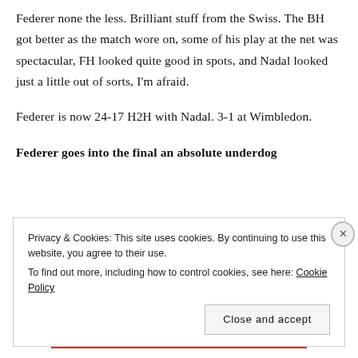Federer none the less. Brilliant stuff from the Swiss. The BH got better as the match wore on, some of his play at the net was spectacular, FH looked quite good in spots, and Nadal looked just a little out of sorts, I'm afraid.
Federer is now 24-17 H2H with Nadal. 3-1 at Wimbledon.
Federer goes into the final an absolute underdog
Privacy & Cookies: This site uses cookies. By continuing to use this website, you agree to their use.
To find out more, including how to control cookies, see here: Cookie Policy
Close and accept